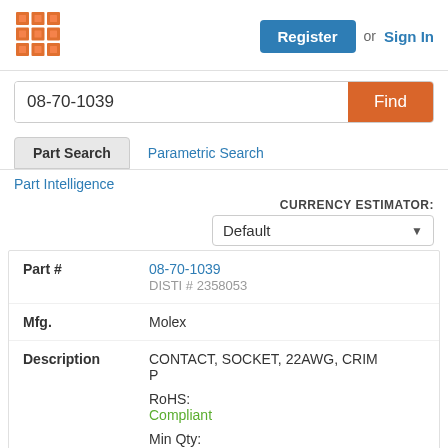[Figure (logo): Orange grid/matrix logo icon]
Register or Sign In
08-70-1039
Find
Part Search  Parametric Search
Part Intelligence
CURRENCY ESTIMATOR: Default
| Field | Value |
| --- | --- |
| Part # | 08-70-1039
DISTI # 2358053 |
| Mfg. | Molex |
| Description | CONTACT, SOCKET, 22AWG, CRIMP
RoHS: Compliant
Min Qty: 12000
Container: TAPE & REEL FULL |